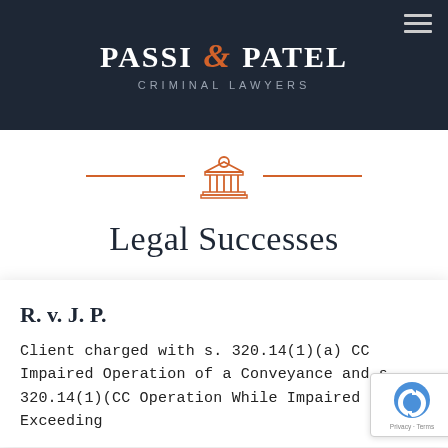[Figure (logo): Passi & Patel Criminal Lawyers logo on dark navy header with hamburger menu icon]
[Figure (illustration): Orange courthouse/columns icon with orange horizontal lines on either side as a decorative divider]
Legal Successes
R. v. J. P.
Client charged with s. 320.14(1)(a) CC Impaired Operation of a Conveyance and s. 320.14(1)( CC Operation While Impaired – BAC Exceeding